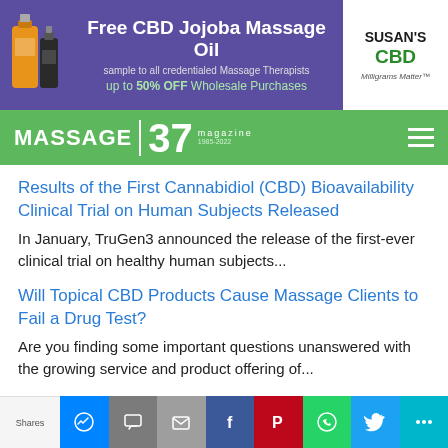[Figure (infographic): Purple banner ad for Free CBD Jojoba Massage Oil by Susan's CBD, showing product bottles, text 'Free CBD Jojoba Massage Oil sample to all credentialed Massage Therapists up to 50% OFF Wholesale Purchases' and Susan's CBD logo with tagline 'Milligrams Matter']
[Figure (logo): Massage Magazine logo on green navigation bar showing 'MASSAGE 37 magazine 1985-2022' with hamburger menu icon]
Results of the First Cannabidiol (CBD) Bioavailability Clinical Trial on Human Subjects Released
In January, TruGen3 announced the release of the first-ever clinical trial on healthy human subjects...
Will Topical CBD Products Cause Massage Clients to Fail a Drug Test?
Are you finding some important questions unanswered with the growing service and product offering of...
Shares [social share buttons: Messenger, Chat, Email, Facebook, Pinterest, WhatsApp, Twitter, More]